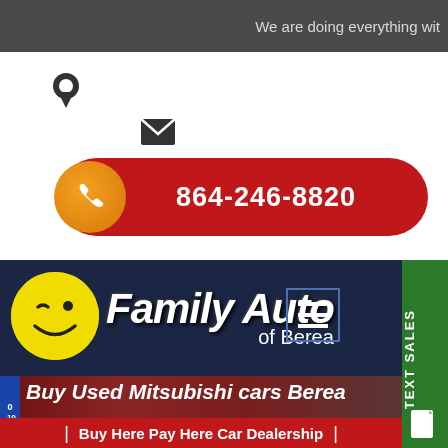We are doing everything wit
[Figure (illustration): Location pin icon (map marker)]
[Figure (illustration): Email envelope icon]
864-246-8820
[Figure (logo): Family Auto of Berea logo with yellow smiley face and white bold italic text on navy background]
[Figure (photo): Red car rear view photo background]
Buy Used Mitsubishi cars Berea
Buy Here Pay Here Car Dealership